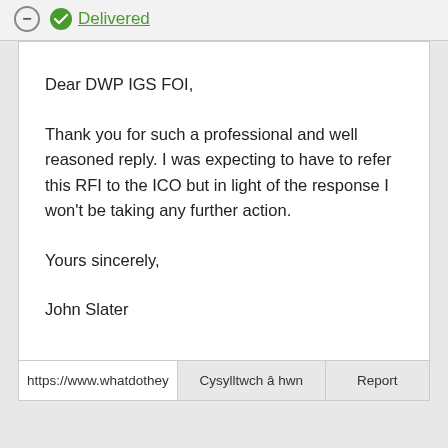JohnSlater 22 Mar 2014 – Delivered
Dear DWP IGS FOI,
Thank you for such a professional and well reasoned reply. I was expecting to have to refer this RFI to the ICO but in light of the response I won't be taking any further action.
Yours sincerely,
John Slater
https://www.whatdothey  Cysylltwch â hwn  Report